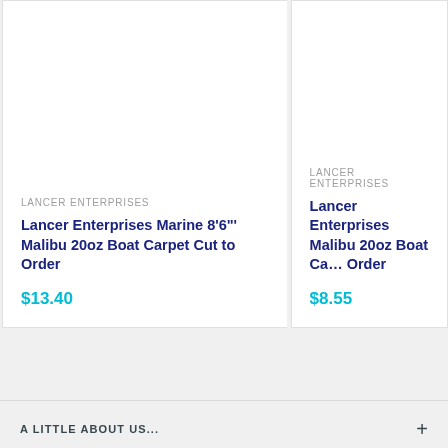LANCER ENTERPRISES
Lancer Enterprises Marine 8'6"' Malibu 20oz Boat Carpet Cut to Order
$13.40
LANCER ENTERPRISES
Lancer Enterprises Malibu 20oz Boat Ca... Order
$8.55
A LITTLE ABOUT US...
FOOTER MENU